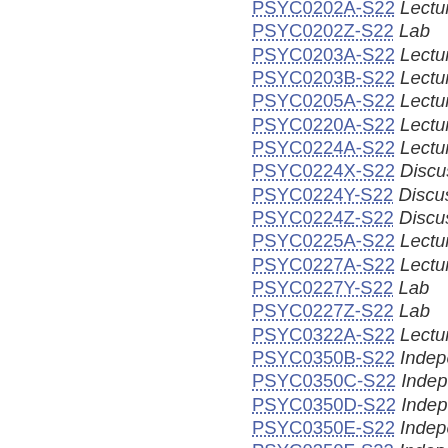PSYC0202A-S22 Lecture
PSYC0202Z-S22 Lab
PSYC0203A-S22 Lecture
PSYC0203B-S22 Lecture
PSYC0205A-S22 Lecture
PSYC0220A-S22 Lecture
PSYC0224A-S22 Lecture
PSYC0224X-S22 Discussion
PSYC0224Y-S22 Discussion
PSYC0224Z-S22 Discussion
PSYC0225A-S22 Lecture
PSYC0227A-S22 Lecture
PSYC0227Y-S22 Lab
PSYC0227Z-S22 Lab
PSYC0322A-S22 Lecture
PSYC0350B-S22 Independent Stu...
PSYC0350C-S22 Independent Stu...
PSYC0350D-S22 Independent Stu...
PSYC0350E-S22 Independent Stu...
PSYC0350F-S22 Independent Stu...
PSYC0350G-S22 Independent Stu...
PSYC0350H-S22 Independent Stu...
PSYC0350I-S22 Independent Stu...